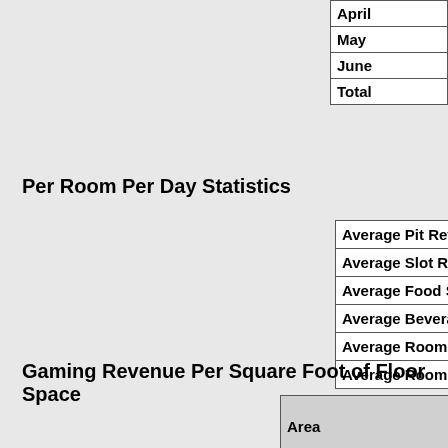| Month |  |
| --- | --- |
| April |  |
| May |  |
| June |  |
| Total |  |
Per Room Per Day Statistics
| Average Pit Revenue Per Ro... |
| Average Slot Revenue Per R... |
| Average Food Sales Per Ro... |
| Average Beverage Sales Pe... |
| Average Rooms Dept. Payro... |
| Average Room Rate Per Da... |
Gaming Revenue Per Square Foot of Floor Space
| Area | # of C... |
| --- | --- |
| Pit |  |
| Coin Operated Devices |  |
| Poker and Pan |  |
| Race and Sports |  |
| Total Casino |  |